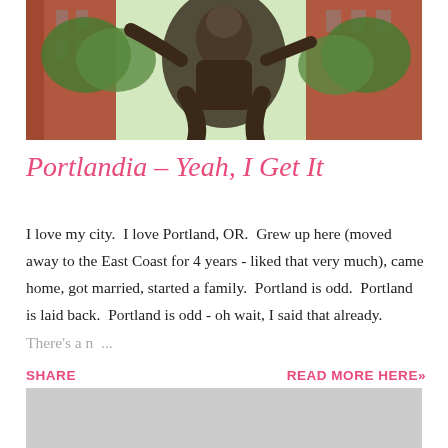[Figure (photo): Outdoor photo showing a bronze statue with green trees and a red/brown brick building in the background. The statue appears to be a large figurative sculpture viewed from below.]
Portlandia – Yeah, I Get It
I love my city.  I love Portland, OR.  Grew up here (moved away to the East Coast for 4 years - liked that very much), came home, got married, started a family.  Portland is odd.  Portland is laid back.  Portland is odd - oh wait, I said that already.  There's a n ...
SHARE
READ MORE HERE»
[Figure (photo): Bottom portion of a photo, showing a light gray/silver color, partially visible at the bottom of the page.]